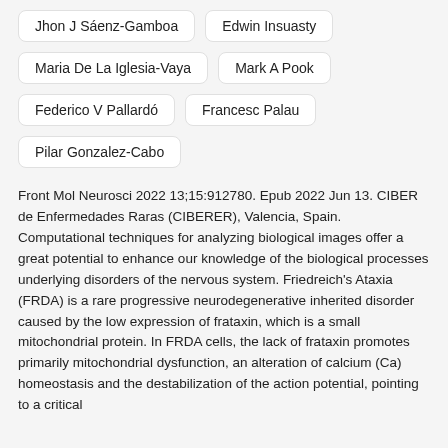Jhon J Sáenz-Gamboa
Edwin Insuasty
Maria De La Iglesia-Vaya
Mark A Pook
Federico V Pallardó
Francesc Palau
Pilar Gonzalez-Cabo
Front Mol Neurosci 2022 13;15:912780. Epub 2022 Jun 13. CIBER de Enfermedades Raras (CIBERER), Valencia, Spain.
Computational techniques for analyzing biological images offer a great potential to enhance our knowledge of the biological processes underlying disorders of the nervous system. Friedreich's Ataxia (FRDA) is a rare progressive neurodegenerative inherited disorder caused by the low expression of frataxin, which is a small mitochondrial protein. In FRDA cells, the lack of frataxin promotes primarily mitochondrial dysfunction, an alteration of calcium (Ca) homeostasis and the destabilization of the action potential, pointing to a critical